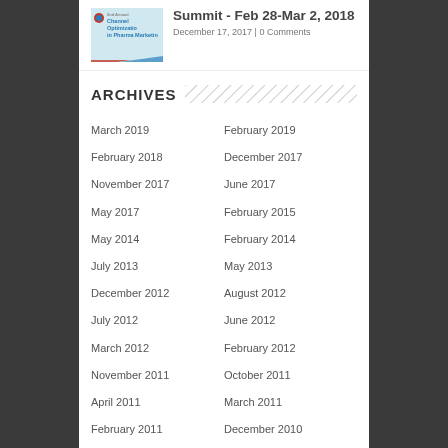[Figure (photo): Thumbnail image for Channel Optimization in Pharma Marketing Summit article]
Summit - Feb 28-Mar 2, 2018
December 17, 2017 | 0 Comments
ARCHIVES
March 2019
February 2019
February 2018
December 2017
November 2017
June 2017
May 2017
February 2015
May 2014
February 2014
July 2013
May 2013
December 2012
August 2012
July 2012
June 2012
March 2012
February 2012
November 2011
October 2011
April 2011
March 2011
February 2011
December 2010